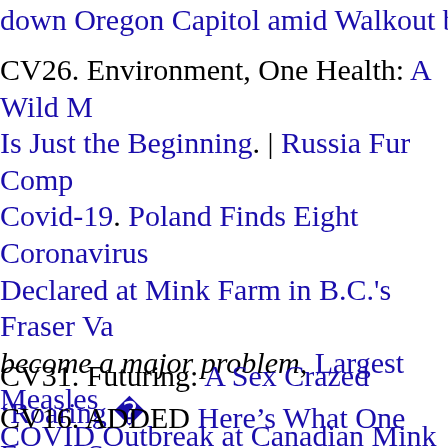down Oregon Capitol amid Walkout by Re
CV26. Environment, One Health: A Wild M Is Just the Beginning. | Russia Fur Comp Covid-19. Poland Finds Eight Coronavirus Declared at Mink Farm in B.C.'s Fraser Va become a major problem, Largest Measles COVID Outbreak at Canadian Mink Farm Graves in Denmark May HaveSoiled Grou in Mink Farm Case. Final Curtain for Dan CV26.
CV31. Futuring: A Sex Crazed ‘Roaring ’22
CV16. ADDED Here’s What One Expert S